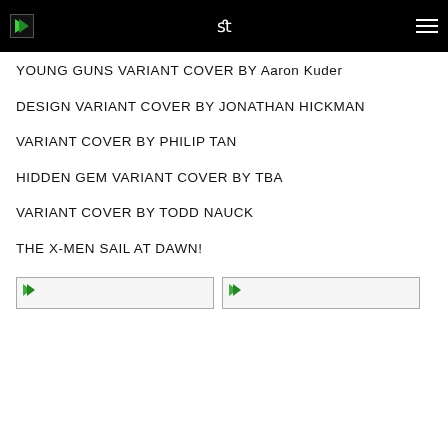YOUNG GUNS VARIANT COVER BY Aaron Kuder
DESIGN VARIANT COVER BY JONATHAN HICKMAN
VARIANT COVER BY PHILIP TAN
HIDDEN GEM VARIANT COVER BY TBA
VARIANT COVER BY TODD NAUCK
THE X-MEN SAIL AT DAWN!
[Figure (photo): Broken image placeholder (left)]
[Figure (photo): Broken image placeholder (right)]